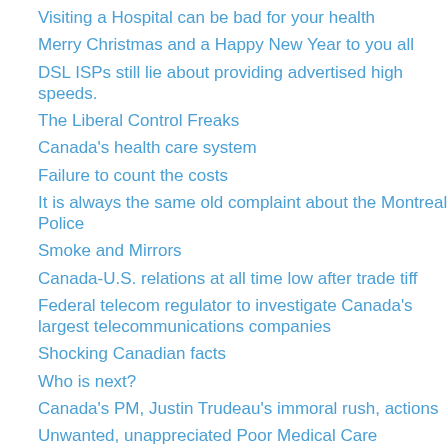Visiting a Hospital can be bad for your health
Merry Christmas and a Happy New Year to you all
DSL ISPs still lie about providing advertised high speeds.
The Liberal Control Freaks
Canada's health care system
Failure to count the costs
It is always the same old complaint about the Montreal Police
Smoke and Mirrors
Canada-U.S. relations at all time low after trade tiff
Federal telecom regulator to investigate Canada's largest telecommunications companies
Shocking Canadian facts
Who is next?
Canada's PM, Justin Trudeau's immoral rush, actions
Unwanted, unappreciated Poor Medical Care
Quebec's pretentious FREE medical services
Report it ASAP
The Truth still even About Alcohol
Gutless Politicians
Sexual Harassment